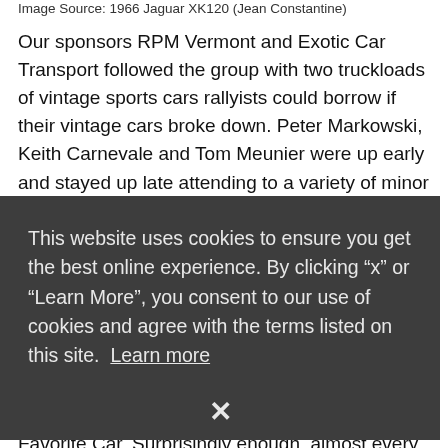Image Source: 1966 Jaguar XK120 (Jean Constantine)
Our sponsors RPM Vermont and Exotic Car Transport followed the group with two truckloads of vintage sports cars rallyists could borrow if their vintage cars broke down. Peter Markowski, Keith Carnevale and Tom Meunier were up early and stayed up late attending to a variety of minor ills, from inoperative fuel pumps to reluctant windshield wipers.
This website uses cookies to ensure you get the best online experience. By clicking “x” or “Learn More”, you consent to our use of cookies and agree with the terms listed on this site. Learn more
...h for ...was ...ere ...ned.
...ve,
My ...e got